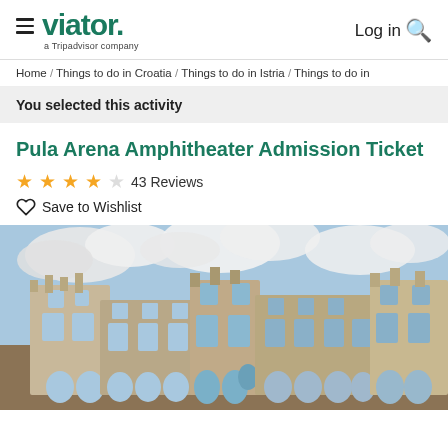viator. a Tripadvisor company | Log in
Home / Things to do in Croatia / Things to do in Istria / Things to do in
You selected this activity
Pula Arena Amphitheater Admission Ticket
★★★★☆ 43 Reviews
Save to Wishlist
[Figure (photo): Photo of the Pula Arena Roman amphitheater exterior with stone arches and towers against a blue sky with clouds]